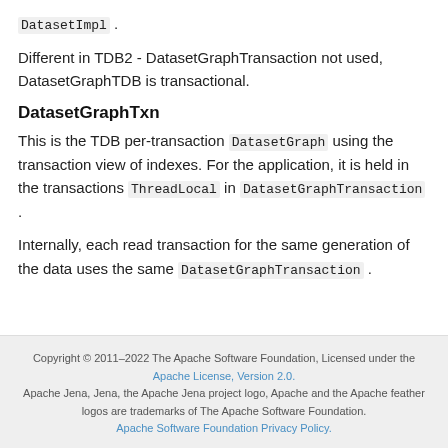DatasetImpl.
Different in TDB2 - DatasetGraphTransaction not used, DatasetGraphTDB is transactional.
DatasetGraphTxn
This is the TDB per-transaction DatasetGraph using the transaction view of indexes. For the application, it is held in the transactions ThreadLocal in DatasetGraphTransaction.
Internally, each read transaction for the same generation of the data uses the same DatasetGraphTransaction.
Copyright © 2011–2022 The Apache Software Foundation, Licensed under the Apache License, Version 2.0. Apache Jena, Jena, the Apache Jena project logo, Apache and the Apache feather logos are trademarks of The Apache Software Foundation. Apache Software Foundation Privacy Policy.